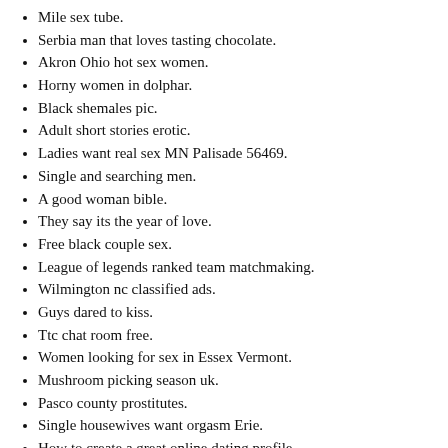Mile sex tube.
Serbia man that loves tasting chocolate.
Akron Ohio hot sex women.
Horny women in dolphar.
Black shemales pic.
Adult short stories erotic.
Ladies want real sex MN Palisade 56469.
Single and searching men.
A good woman bible.
They say its the year of love.
Free black couple sex.
League of legends ranked team matchmaking.
Wilmington nc classified ads.
Guys dared to kiss.
Ttc chat room free.
Women looking for sex in Essex Vermont.
Mushroom picking season uk.
Pasco county prostitutes.
Single housewives want orgasm Erie.
How to create a great online dating profile.
Pekingese puppies texas.
Best free nsa sites.
Need your wet Arboles Colorado mouth.
Blended christian families.
email: mnuhyryqws@gmail.com - phone:(568) 671-7738 x 7439